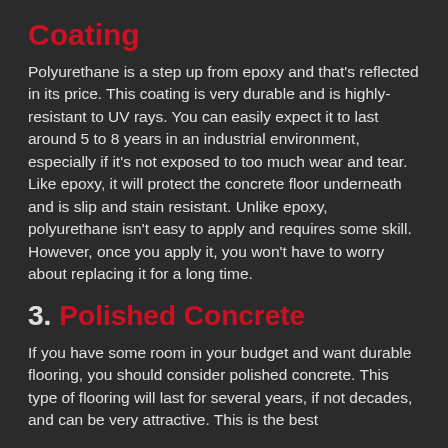Coating
Polyurethane is a step up from epoxy and that's reflected in its price. This coating is very durable and is highly-resistant to UV rays. You can easily expect it to last around 5 to 8 years in an industrial environment, especially if it's not exposed to too much wear and tear. Like epoxy, it will protect the concrete floor underneath and is slip and stain resistant. Unlike epoxy, polyurethane isn't easy to apply and requires some skill. However, once you apply it, you won't have to worry about replacing it for a long time.
3. Polished Concrete
If you have some room in your budget and want durable flooring, you should consider polished concrete. This type of flooring will last for several years, if not decades, and can be very attractive. This is the best